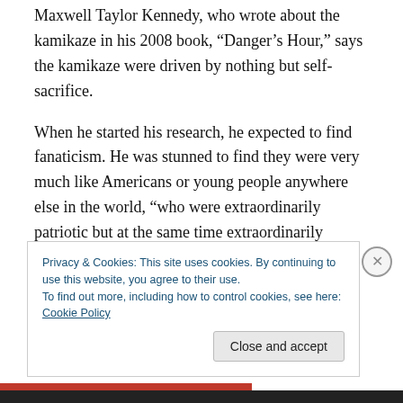Maxwell Taylor Kennedy, who wrote about the kamikaze in his 2008 book, “Danger’s Hour,” says the kamikaze were driven by nothing but self-sacrifice.
When he started his research, he expected to find fanaticism. He was stunned to find they were very much like Americans or young people anywhere else in the world, “who were extraordinarily patriotic but at the same time extraordinarily idealistic.”
Kennedy stressed that kamikaze have little in common with suicide bombers today. Japan was engaged in
Privacy & Cookies: This site uses cookies. By continuing to use this website, you agree to their use.
To find out more, including how to control cookies, see here: Cookie Policy
Close and accept